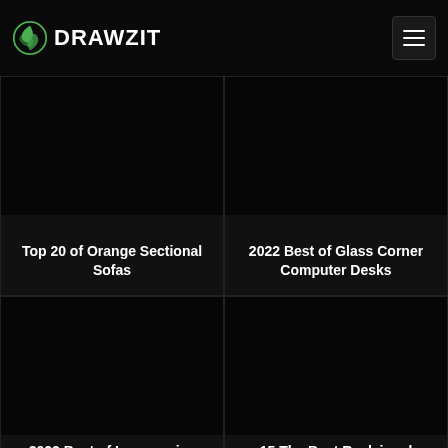DRAWZIT
Top 20 of Orange Sectional Sofas
2022 Best of Glass Corner Computer Desks
2022 Best of Inexpensive Sectional Sofas for Small Spaces
15 The Best Reclaimed Barnwood Wood Writing Desks